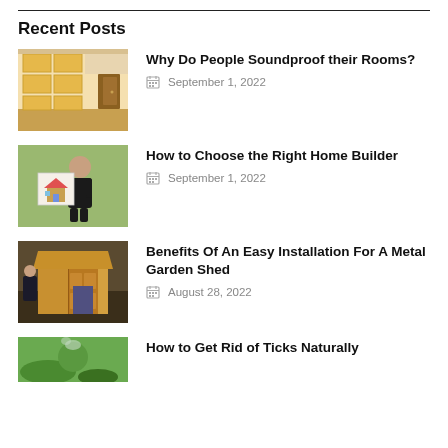Recent Posts
Why Do People Soundproof their Rooms? — September 1, 2022
How to Choose the Right Home Builder — September 1, 2022
Benefits Of An Easy Installation For A Metal Garden Shed — August 28, 2022
How to Get Rid of Ticks Naturally